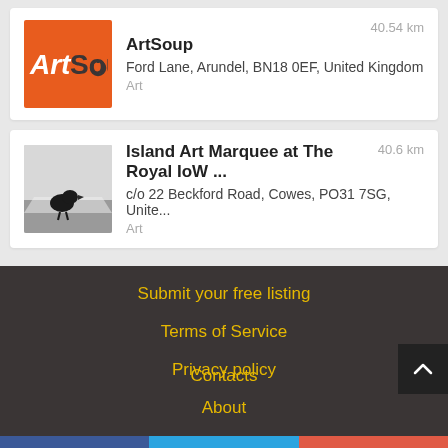[Figure (logo): ArtSoup orange logo with white hand-drawn text]
ArtSoup
Ford Lane, Arundel, BN18 0EF, United Kingdom
Art
40.54 km
[Figure (photo): Photo of a black bird outdoors at a marquee event]
Island Art Marquee at The Royal IoW ...
c/o 22 Beckford Road, Cowes, PO31 7SG, Unite...
Art
40.6 km
Submit your free listing
Terms of Service
Privacy policy
About
Contacts
Facebook | Twitter | Add